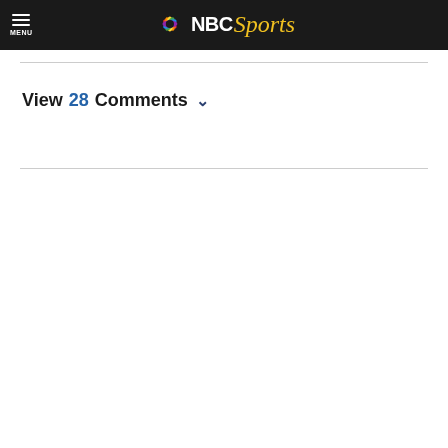NBC Sports - MENU
View 28 Comments